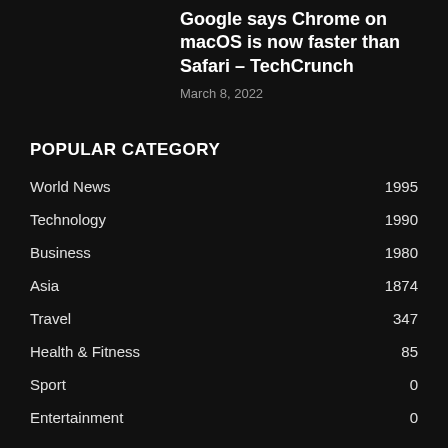Google says Chrome on macOS is now faster than Safari – TechCrunch
March 8, 2022
POPULAR CATEGORY
World News 1995
Technology 1990
Business 1980
Asia 1874
Travel 347
Health & Fitness 85
Sport 0
Entertainment 0